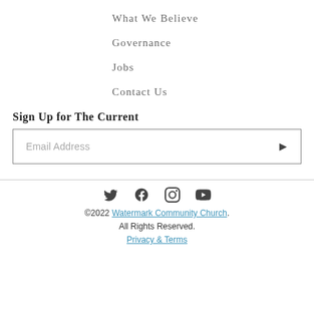What We Believe
Governance
Jobs
Contact Us
Sign Up for The Current
Email Address
©2022 Watermark Community Church. All Rights Reserved. Privacy & Terms